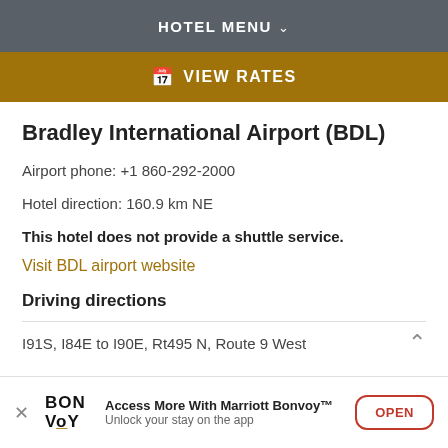HOTEL MENU
VIEW RATES
Bradley International Airport (BDL)
Airport phone: +1 860-292-2000
Hotel direction: 160.9 km NE
This hotel does not provide a shuttle service.
Visit BDL airport website
Driving directions
I91S, I84E to I90E, Rt495 N, Route 9 West
Access More With Marriott Bonvoy™ Unlock your stay on the app